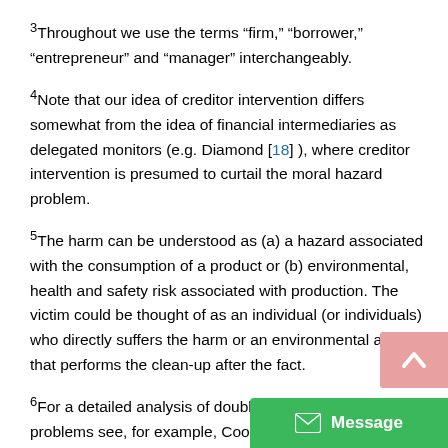3Throughout we use the terms “firm,” “borrower,” “entrepreneur” and “manager” interchangeably.
4Note that our idea of creditor intervention differs somewhat from the idea of financial intermediaries as delegated monitors (e.g. Diamond [18] ), where creditor intervention is presumed to curtail the moral hazard problem.
5The harm can be understood as (a) a hazard associated with the consumption of a product or (b) environmental, health and safety risk associated with production. The victim could be thought of as an individual (or individuals) who directly suffers the harm or an environmental agency that performs the clean-up after the fact.
6For a detailed analysis of double sided moral hazard problems see, for example, Cooper and Ross [25] [26] , De...